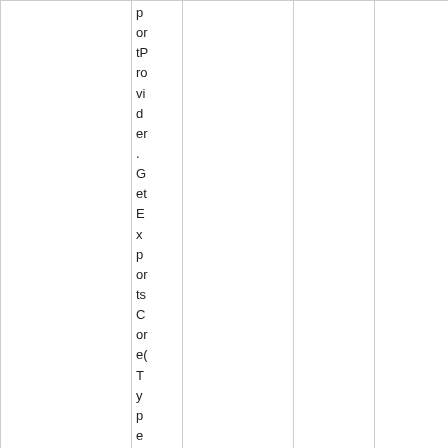|  | p
or
tP
ro
vi
d
er
.
G
et
E
x
p
or
ts
C
or
e(
T
y
p
e
ty |  |  |